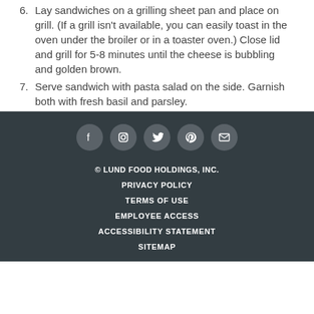6. Lay sandwiches on a grilling sheet pan and place on grill. (If a grill isn't available, you can easily toast in the oven under the broiler or in a toaster oven.) Close lid and grill for 5-8 minutes until the cheese is bubbling and golden brown.
7. Serve sandwich with pasta salad on the side. Garnish both with fresh basil and parsley.
© LUND FOOD HOLDINGS, INC.
PRIVACY POLICY
TERMS OF USE
EMPLOYEE ACCESS
ACCESSIBILITY STATEMENT
SITEMAP